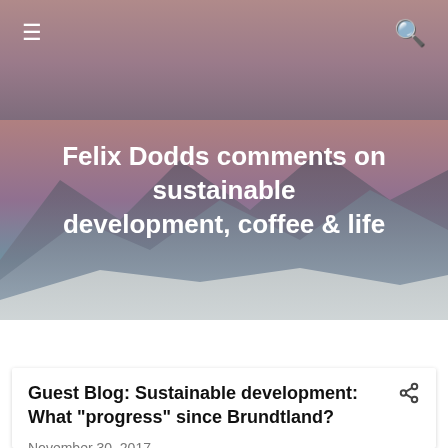Felix Dodds comments on sustainable development, coffee & life
Showing posts from November, 2017   SHOW ALL
Guest Blog: Sustainable development: What "progress" since Brundtland?
November 30, 2017
[Figure (photo): Photo of Jacques Prescott, a man with glasses and grey hair, gesturing while speaking.]
By Jacques Prescott  is a sustainability consultant and associate professor, Chair on Eco-advising, Université du Québec à Chicoutimi; as a former employee of the Québec department of environment, he